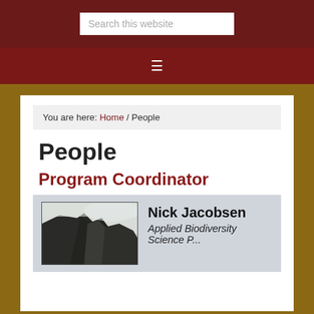Search this website
≡
You are here: Home / People
People
Program Coordinator
[Figure (photo): Photo of mountainous landscape with dark rocky cliffs and mist]
Nick Jacobsen
Applied Biodiversity Science Program